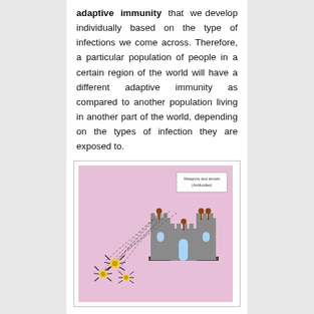adaptive immunity that we develop individually based on the type of infections we come across. Therefore, a particular population of people in a certain region of the world will have a different adaptive immunity as compared to another population living in another part of the world, depending on the types of infection they are exposed to.
[Figure (illustration): Illustration of adaptive immunity depicted as a castle (representing the immune system) with defenders on the battlements shooting arrows (antibodies) at bug-like pathogens approaching from the left. A label reads 'Weapons and arrows (Antibodies)'. Caption below reads 'Adaptive Immunity'.]